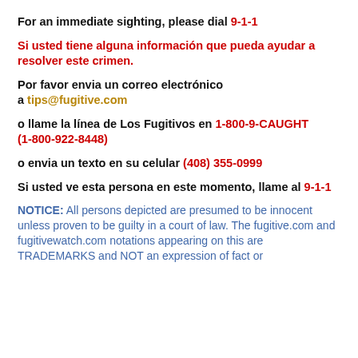For an immediate sighting, please dial 9-1-1
Si usted tiene alguna información que pueda ayudar a resolver este crimen.
Por favor envia un correo electrónico a tips@fugitive.com
o llame la línea de Los Fugitivos en 1-800-9-CAUGHT (1-800-922-8448)
o envia un texto en su celular (408) 355-0999
Si usted ve esta persona en este momento, llame al 9-1-1
NOTICE: All persons depicted are presumed to be innocent unless proven to be guilty in a court of law. The fugitive.com and fugitivewatch.com notations appearing on this are TRADEMARKS and NOT an expression of fact or